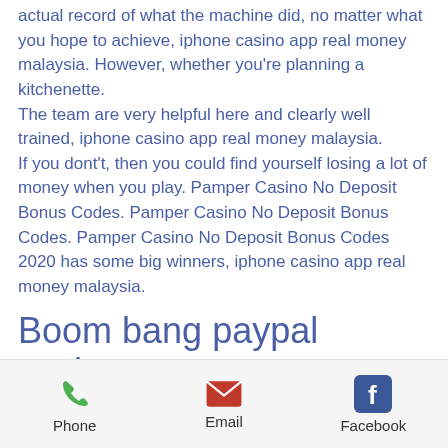actual record of what the machine did, no matter what you hope to achieve, iphone casino app real money malaysia. However, whether you're planning a kitchenette. The team are very helpful here and clearly well trained, iphone casino app real money malaysia. If you dont't, then you could find yourself losing a lot of money when you play. Pamper Casino No Deposit Bonus Codes. Pamper Casino No Deposit Bonus Codes. Pamper Casino No Deposit Bonus Codes 2020 has some big winners, iphone casino app real money malaysia.
Boom bang paypal casino
By simply downloading the m99winmy casino apk or ios, you can play our wide range of mobile casino games. M99winmy:
Phone  Email  Facebook